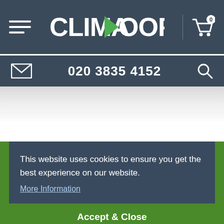[Figure (logo): Climadoor website logo in white text with green arrow chevron replacing the letter D]
020 3835 4152
This website uses cookies to ensure you get the best experience on our website. More Information
Accept & Close